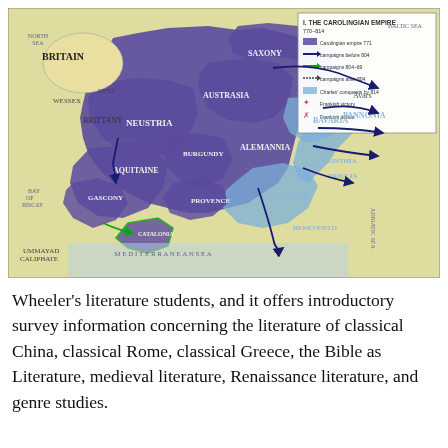[Figure (map): Historical map titled 'I. The Carolingian Empire 770-814' showing the extent of the Carolingian Empire in purple/blue across Western and Central Europe, with arrows indicating military campaigns, and a legend explaining map symbols. Regions labeled include Britain, Wessex, Kent, Brittany, Neustria, Aquitaine, Gascony, Catalonia, Burgundy, Provence, Austrasia, Saxony, Alemannia, Bavaria, Carinthia, Friulia, Pannonia, Lombardy, Benevento. Surrounding areas include Mediterranean Sea, Adriatic Sea, Baltic Sea, Ummayad Caliphate, Avars.]
Wheeler's literature students, and it offers introductory survey information concerning the literature of classical China, classical Rome, classical Greece, the Bible as Literature, medieval literature, Renaissance literature, and genre studies.